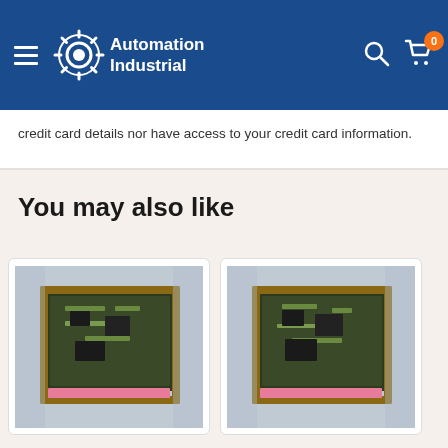[Figure (logo): Automation Industrial logo with gear icon and white text on dark blue navigation header bar]
credit card details nor have access to your credit card information.
You may also like
[Figure (photo): Product photo of an industrial circuit board/PLC module in packaging with Automation Industrial logo backdrop]
[Figure (photo): Second product photo of a similar industrial circuit board/PLC module in packaging with Automation Industrial logo backdrop]